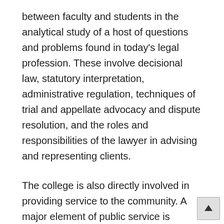between faculty and students in the analytical study of a host of questions and problems found in today's legal profession. These involve decisional law, statutory interpretation, administrative regulation, techniques of trial and appellate advocacy and dispute resolution, and the roles and responsibilities of the lawyer in advising and representing clients.
The college is also directly involved in providing service to the community. A major element of public service is centered in the Legal Clinic, where students, under the guidance of skilled and experienced licensed practitioners, provide legal services to clients. Additionally, through research, consultation, and other services to legal institutions and groups within the state, the college seeks to participate in the development and